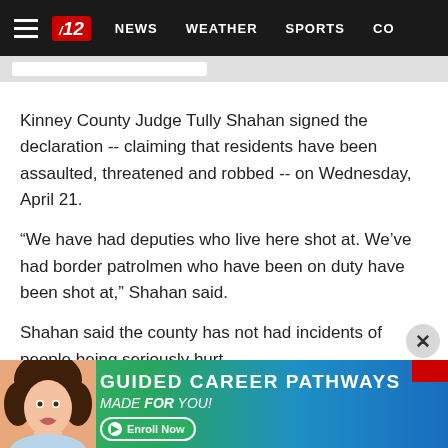GREAT 12 | NEWS | WEATHER | SPORTS | CO...
Kinney County Judge Tully Shahan signed the declaration -- claiming that residents have been assaulted, threatened and robbed -- on Wednesday, April 21.
“We have had deputies who live here shot at. We’ve had border patrolmen who have been on duty have been shot at,” Shahan said.
Shahan said the county has not had incidents of people being seriously hurt.
“Criminal activity is definitely up -- the pursuits, the
[Figure (screenshot): Advertisement banner: Guided Career Pathways Made For You! with Enroll Now button and image of a woman with curly hair on a blue/green gradient background.]